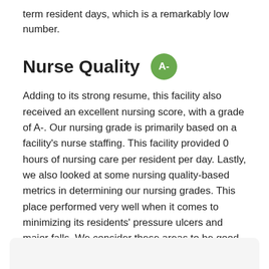term resident days, which is a remarkably low number.
Nurse Quality  A-
Adding to its strong resume, this facility also received an excellent nursing score, with a grade of A-. Our nursing grade is primarily based on a facility's nurse staffing. This facility provided 0 hours of nursing care per resident per day. Lastly, we also looked at some nursing quality-based metrics in determining our nursing grades. This place performed very well when it comes to minimizing its residents' pressure ulcers and major falls. We consider these areas to be good indicators of the quality of nursing care.